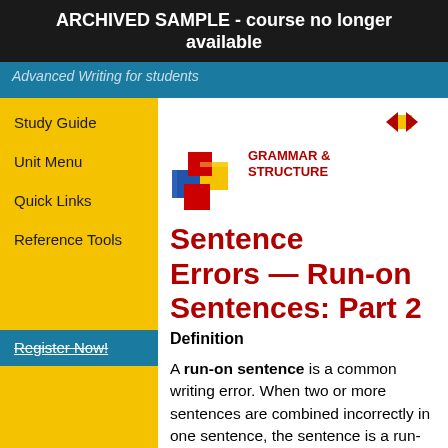ARCHIVED SAMPLE - course no longer available
Advanced Writing for students
Study Guide
Unit Menu
Quick Links
Reference Tools
Register Now!
GRAMMAR & STRUCTURE
Sentence Errors — Run-on Sentences: Part 2
Definition
A run-on sentence is a common writing error. When two or more sentences are combined incorrectly in one sentence, the sentence is a run-on. Rewriting run-on sentences as complex sentences is a very good